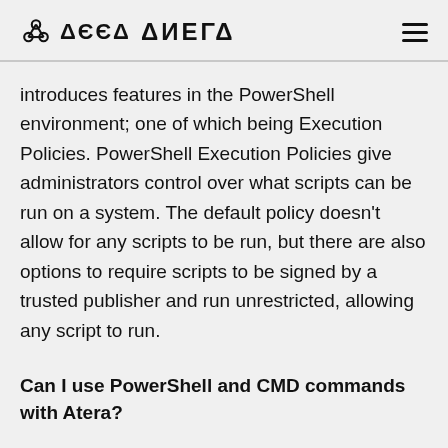ATERA
introduces features in the PowerShell environment; one of which being Execution Policies. PowerShell Execution Policies give administrators control over what scripts can be run on a system. The default policy doesn't allow for any scripts to be run, but there are also options to require scripts to be signed by a trusted publisher and run unrestricted, allowing any script to run.
Can I use PowerShell and CMD commands with Atera?